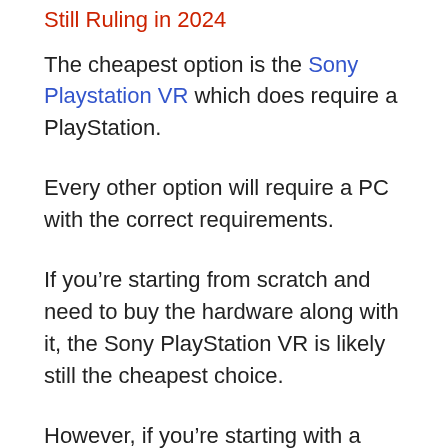Still Ruling in 2024
The cheapest option is the Sony Playstation VR which does require a PlayStation.
Every other option will require a PC with the correct requirements.
If you're starting from scratch and need to buy the hardware along with it, the Sony PlayStation VR is likely still the cheapest choice.
However, if you're starting with a powerful PC that can get the job done, the Lenovo Explorer running on Windows Mixed Reality is the cheapest option among